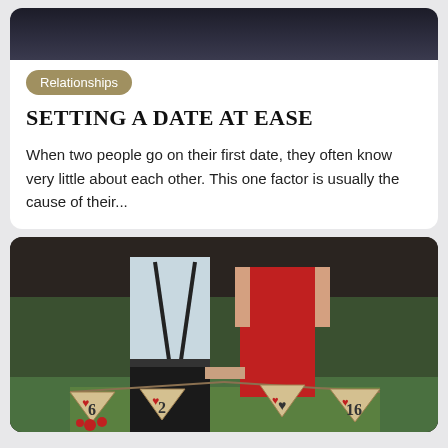[Figure (photo): Top portion of an article card showing a dark, atmospheric photograph (partially visible, cropped at top)]
Relationships
SETTING A DATE AT EASE
When two people go on their first date, they often know very little about each other. This one factor is usually the cause of their...
[Figure (photo): A couple standing outdoors holding hands. The man wears a light blue shirt with suspenders and black pants. The woman wears a red strapless dress. In front of them hang burlap pennant banners decorated with red hearts showing numbers 6, 2, 16 (likely a date). Background shows green grass and trees.]